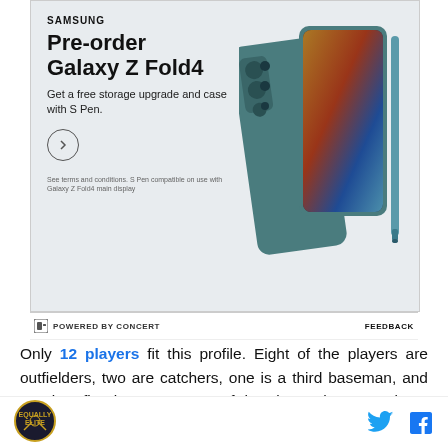[Figure (other): Samsung Galaxy Z Fold4 advertisement. Shows the phone product in teal/green color with an S Pen stylus. Text reads: SAMSUNG, Pre-order Galaxy Z Fold4, Get a free storage upgrade and case with S Pen. Circle arrow button. Small disclaimer text at bottom left. Powered by Concert bar with Feedback link.]
Only 12 players fit this profile. Eight of the players are outfielders, two are catchers, one is a third baseman, and one is a first baseman. Two of the players have an above average career wRC+ : Padres 3b/OF Chase Headley (116) and current Astros' coach Dave Clark
[Figure (logo): Sports website logo — circular badge with crossed bats or similar baseball motif]
[Figure (other): Twitter and Facebook social media icons]